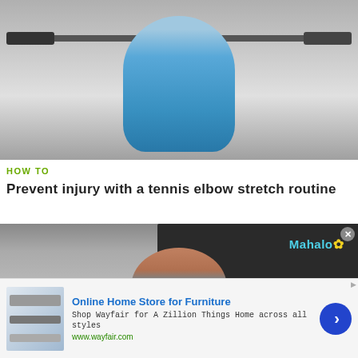[Figure (photo): Video thumbnail showing a person in a blue tank top lifting a barbell in a gym setting]
HOW TO
Prevent injury with a tennis elbow stretch routine
[Figure (photo): Video thumbnail showing a woman in a blue top performing a tennis elbow stretch exercise with hands near face, Mahalo logo visible in background]
Online Home Store for Furniture
Shop Wayfair for A Zillion Things Home across all styles
www.wayfair.com